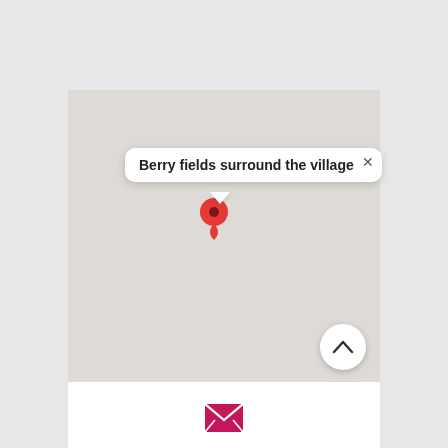[Figure (map): A map interface showing a location pin (red Google Maps style marker) with a white tooltip bubble reading 'Berry fields surround the village' with a close (×) button. A circular white button with an upward chevron arrow is in the lower right of the map. Below the map is a white section with a pink/magenta envelope (email) icon.]